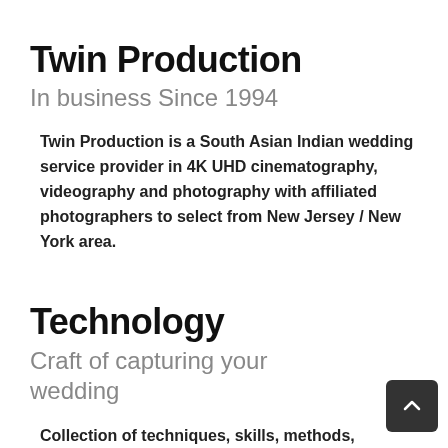Twin Production
In business Since 1994
Twin Production is a South Asian Indian wedding service provider in 4K UHD cinematography, videography and photography with affiliated photographers to select from New Jersey / New York area.
Technology
Craft of capturing your wedding
Collection of techniques, skills, methods, processes and delivery used to capture your Wedding day